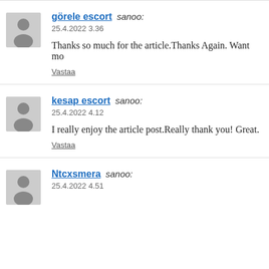görele escort sanoo: 25.4.2022 3.36 Thanks so much for the article.Thanks Again. Want mo Vastaa
kesap escort sanoo: 25.4.2022 4.12 I really enjoy the article post.Really thank you! Great. Vastaa
Ntcxsmera sanoo: 25.4.2022 4.51